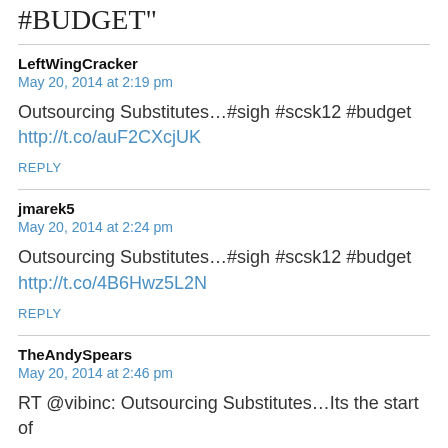#BUDGET"
LeftWingCracker
May 20, 2014 at 2:19 pm
Outsourcing Substitutes…#sigh #scsk12 #budget
http://t.co/auF2CXcjUK
REPLY
jmarek5
May 20, 2014 at 2:24 pm
Outsourcing Substitutes…#sigh #scsk12 #budget
http://t.co/4B6Hwz5L2N
REPLY
TheAndySpears
May 20, 2014 at 2:46 pm
RT @vibinc: Outsourcing Substitutes…Its the start of